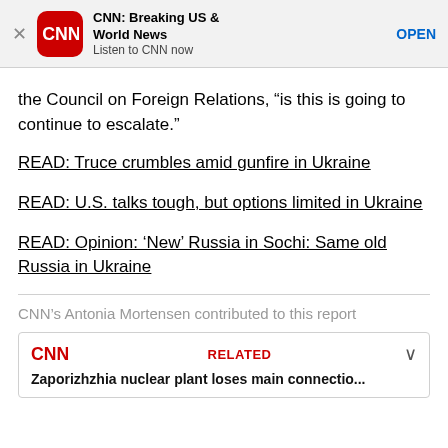[Figure (screenshot): CNN app banner with red icon, title 'CNN: Breaking US & World News', subtitle 'Listen to CNN now', and OPEN button]
the Council on Foreign Relations, “is this is going to continue to escalate.”
READ: Truce crumbles amid gunfire in Ukraine
READ: U.S. talks tough, but options limited in Ukraine
READ: Opinion: ‘New’ Russia in Sochi: Same old Russia in Ukraine
CNN’s Antonia Mortensen contributed to this report
RELATED — Zaporizhzhia nuclear plant loses main connectio...